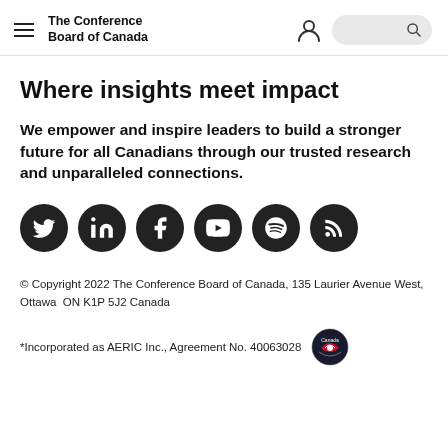The Conference Board of Canada
Where insights meet impact
We empower and inspire leaders to build a stronger future for all Canadians through our trusted research and unparalleled connections.
[Figure (illustration): Six social media icons in dark circles: Twitter, LinkedIn, Facebook, YouTube, Spotify, RSS]
© Copyright 2022 The Conference Board of Canada, 135 Laurier Avenue West, Ottawa  ON K1P 5J2 Canada
*Incorporated as AERIC Inc., Agreement No. 40063028